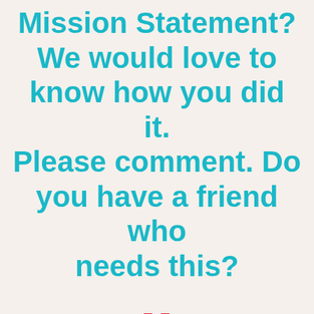Mission Statement? We would love to know how you did it. Please comment. Do you have a friend who needs this?
Family Mission